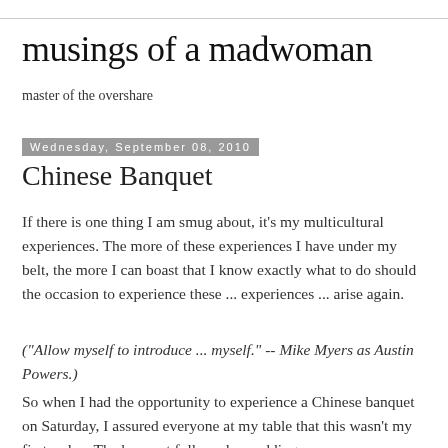musings of a madwoman
master of the overshare
Wednesday, September 08, 2010
Chinese Banquet
If there is one thing I am smug about, it's my multicultural experiences. The more of these experiences I have under my belt, the more I can boast that I know exactly what to do should the occasion to experience these ... experiences ... arise again.
("Allow myself to introduce ... myself." -- Mike Myers as Austin Powers.)
So when I had the opportunity to experience a Chinese banquet on Saturday, I assured everyone at my table that this wasn't my first rodeo. The banquet followed a wedding